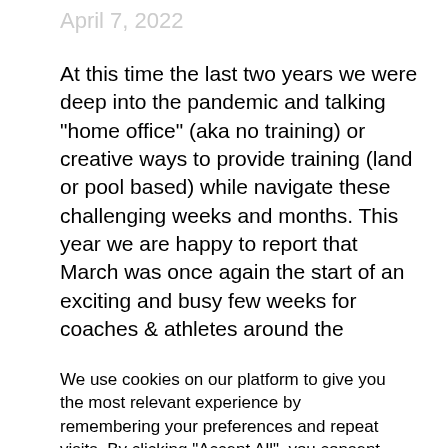April 7, 2022
At this time the last two years we were deep into the pandemic and talking “home office” (aka no training) or creative ways to provide training (land or pool based) while navigate these challenging weeks and months. This year we are happy to report that March was once again the start of an exciting and busy few weeks for coaches & athletes around the
We use cookies on our platform to give you the most relevant experience by remembering your preferences and repeat visits. By clicking “Accept All”, you consent to the use of ALL the cookies. However, you may visit "Cookie Settings" to provide a controlled consent.